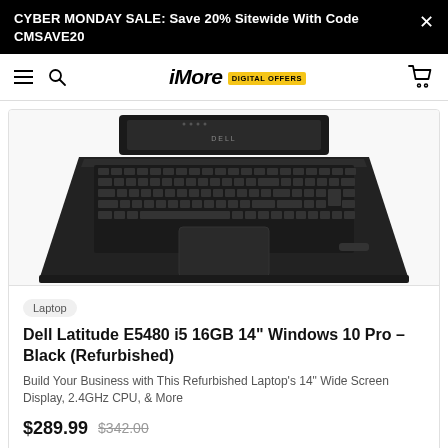CYBER MONDAY SALE: Save 20% Sitewide With Code CMSAVE20
iMore DIGITAL OFFERS
[Figure (photo): Dell laptop (Latitude E5480) viewed from above showing keyboard and partially raised screen with DELL logo]
Laptop
Dell Latitude E5480 i5 16GB 14" Windows 10 Pro – Black (Refurbished)
Build Your Business with This Refurbished Laptop's 14" Wide Screen Display, 2.4GHz CPU, & More
$289.99  $342.00